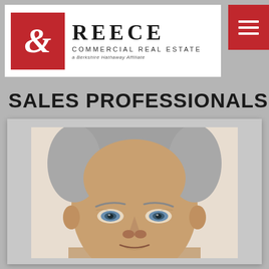[Figure (logo): Reece Commercial Real Estate logo — red decorative ampersand on red square background, followed by REECE in large serif letters, COMMERCIAL REAL ESTATE in small caps, and 'a Berkshire Hathaway Affiliate' in italic below]
[Figure (other): Red hamburger menu icon (three horizontal white lines) on red background, top right corner]
SALES PROFESSIONALS
[Figure (photo): Headshot portrait of an older man with silver-gray hair, light blue eyes, against a light beige/cream background. The photo is cropped showing face and top of head prominently.]